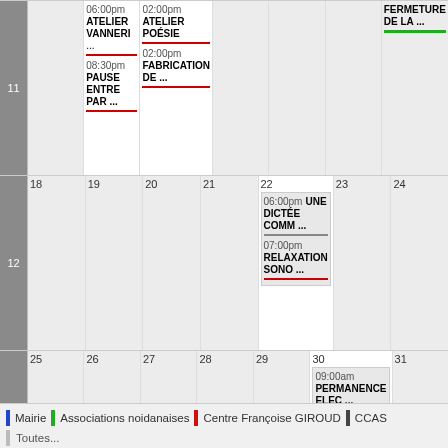[Figure (other): Monthly calendar view showing weeks with days 11-31, with events listed: ATELIER VANNERI, PAUSE ENTRE PAR, ATELIER POESIE, FABRICATION DE, UNE DICTEE COMM, RELAXATION SONO, PERMANENCE ELEC, FERMETURE DE LA]
Mairie | Associations noidanaises | Centre Françoise GIROUD | CCAS
Toutes...